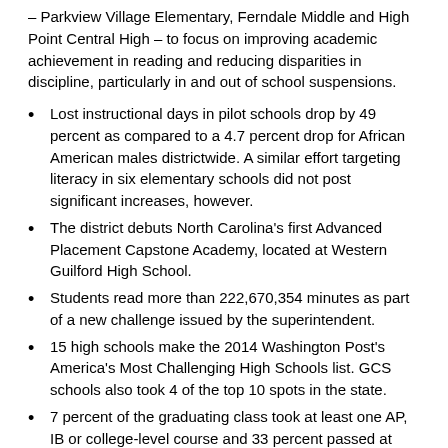– Parkview Village Elementary, Ferndale Middle and High Point Central High – to focus on improving academic achievement in reading and reducing disparities in discipline, particularly in and out of school suspensions.
Lost instructional days in pilot schools drop by 49 percent as compared to a 4.7 percent drop for African American males districtwide. A similar effort targeting literacy in six elementary schools did not post significant increases, however.
The district debuts North Carolina's first Advanced Placement Capstone Academy, located at Western Guilford High School.
Students read more than 222,670,354 minutes as part of a new challenge issued by the superintendent.
15 high schools make the 2014 Washington Post's America's Most Challenging High Schools list. GCS schools also took 4 of the top 10 spots in the state.
7 percent of the graduating class took at least one AP, IB or college-level course and 33 percent passed at least one AP or IB exam, or earned a B or better in a college-level course.
Eugene Grant, a Southeast High School mathematics teacher, is named Teacher of the Year. Ged O'Donnell,